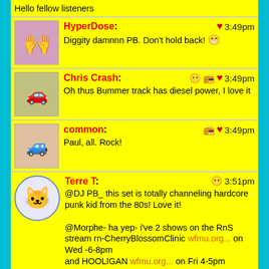Hello fellow listeners
HyperDose: ♥ 3:49pm — Diggity damnnn PB. Don't hold back! 😁
Chris Crash: 🎭 📻 ♥ 3:49pm — Oh thus Bummer track has diesel power, I love it
common: 📻 ♥ 3:49pm — Paul, all. Rock!
Terre T: 🎭 3:51pm — @DJ PB_ this set is totally channeling hardcore punk kid from the 80s! Love it! @Morphe- ha yep- i've 2 shows on the RnS stream rn-CherryBlossomClinic wfmu.org... on Wed -6-8pm and HOOLIGAN wfmu.org... on Fri 4-5pm
K8: 🎭 ♥ 3:51pm — You're killing it, Paul! That Bummer track makes me want to smash things...you know, in a good way. Smash therapy.
DJ PB: 📻 ♥ 3:53pm